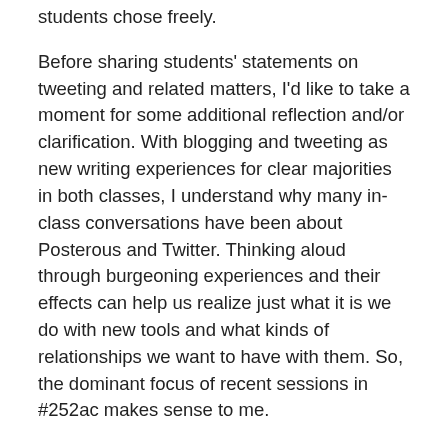students chose freely.
Before sharing students' statements on tweeting and related matters, I'd like to take a moment for some additional reflection and/or clarification. With blogging and tweeting as new writing experiences for clear majorities in both classes, I understand why many in-class conversations have been about Posterous and Twitter. Thinking aloud through burgeoning experiences and their effects can help us realize just what it is we do with new tools and what kinds of relationships we want to have with them. So, the dominant focus of recent sessions in #252ac makes sense to me.
However, given the incredible range of our expectations and interests as well as the freedom of focus #252ac in particular was designed to provide, I'm curious as to why we haven't engaged both more. For instance, why has